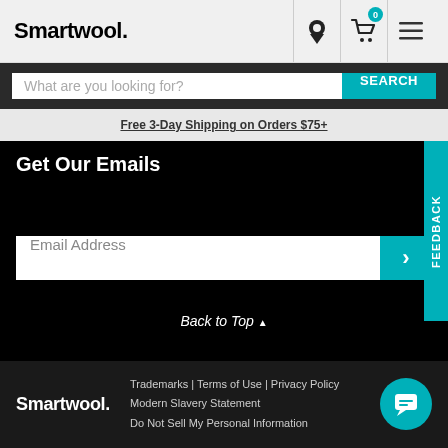Smartwool.
What are you looking for?
Free 3-Day Shipping on Orders $75+
Get Our Emails
Email Address
FEEDBACK
Back to Top ▲
Smartwool. | Trademarks | Terms of Use | Privacy Policy | Modern Slavery Statement | Do Not Sell My Personal Information